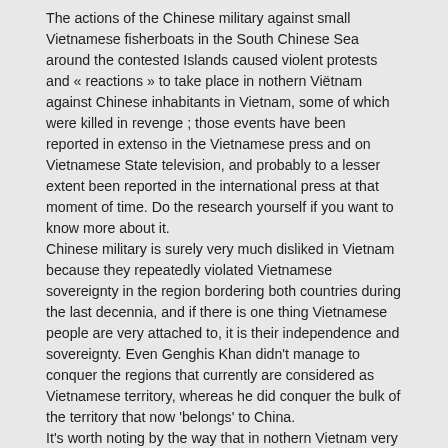The actions of the Chinese military against small Vietnamese fisherboats in the South Chinese Sea around the contested Islands caused violent protests and « reactions » to take place in nothern Viëtnam against Chinese inhabitants in Vietnam, some of which were killed in revenge ; those events have been reported in extenso in the Vietnamese press and on Vietnamese State television, and probably to a lesser extent been reported in the international press at that moment of time. Do the research yourself if you want to know more about it.
Chinese military is surely very much disliked in Vietnam because they repeatedly violated Vietnamese sovereignty in the region bordering both countries during the last decennia, and if there is one thing Vietnamese people are very attached to, it is their independence and sovereignty. Even Genghis Khan didn't manage to conquer the regions that currently are considered as Vietnamese territory, whereas he did conquer the bulk of the territory that now 'belongs' to China.
It's worth noting by the way that in nothern Vietnam very few Vietnamese people did even bother to see Barack Obama during his recent visit to Vietnam, whereas a mass has been welcoming him in Ho Chi Minh city where he seems to be more appreciated.